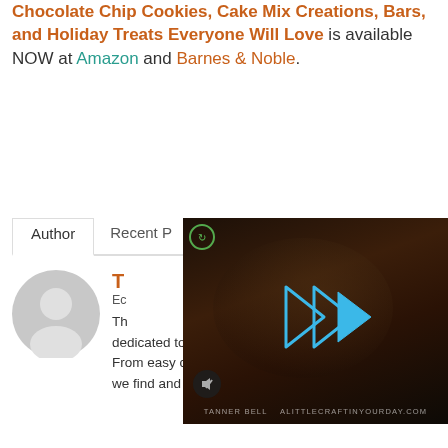Chocolate Chip Cookies, Cake Mix Creations, Bars, and Holiday Treats Everyone Will Love is available NOW at Amazon and Barnes & Noble.
Author  Recent Posts
[Figure (photo): Video overlay showing a person in a plaid shirt with play button and mute icon, watermark reads TANNER BELL  ALITTLECRAFTINYOURDAY.COM]
[Figure (photo): Default grey circular avatar/profile placeholder image]
T... Ec... This blog is dedicated to the best dessert recipes and baking tips. From easy cookie recipes to recipes with cake mix, we find and deliver the best desserts from all over